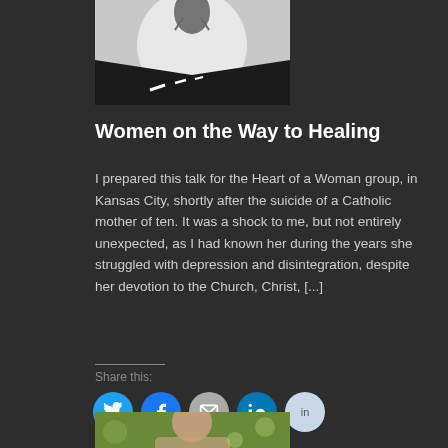[Figure (illustration): Black and white illustration of a road with dashed white lines leading into the distance under a large moon or circle, with a dark figure above. Gray background with a dark silhouette.]
Women on the Way to Healing
I prepared this talk for the Heart of a Woman group, in Kansas City, shortly after the suicide of a Catholic mother of ten. It was a shock to me, but not entirely unexpected, as I had known her during the years she struggled with depression and disintegration, despite her devotion to the Church, Christ, [...]
Share this:
[Figure (illustration): Partial photo at the bottom of the page showing a person outdoors with green/yellow bokeh background.]